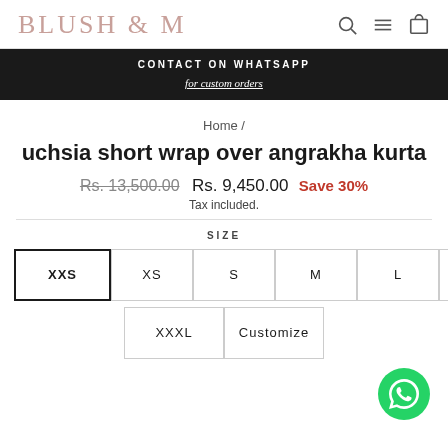BLUSH & M
CONTACT ON WHATSAPP
for custom orders
Home /
uchsia short wrap over angrakha kurta
Rs. 13,500.00  Rs. 9,450.00  Save 30%
Tax included.
SIZE
XXS  XS  S  M  L  XL  XX
XXXL  Customize